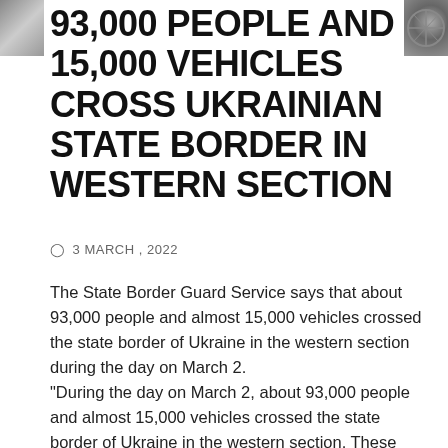[Figure (photo): Small photo thumbnail on the left side]
[Figure (photo): Small photo thumbnail on the right side]
93,000 PEOPLE AND 15,000 VEHICLES CROSS UKRAINIAN STATE BORDER IN WESTERN SECTION
3 MARCH , 2022
The State Border Guard Service says that about 93,000 people and almost 15,000 vehicles crossed the state border of Ukraine in the western section during the day on March 2. "During the day on March 2, about 93,000 people and almost 15,000 vehicles crossed the state border of Ukraine in the western section. These indicators remained at the level of the previous day" the press service of the State Border Guard